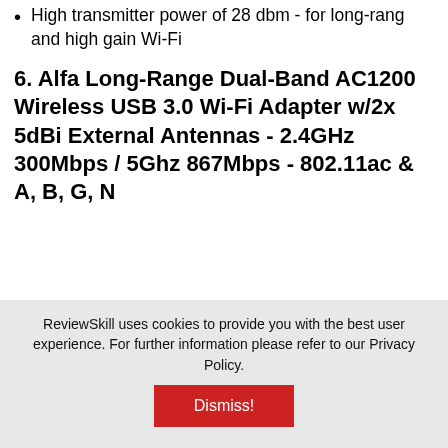High transmitter power of 28 dbm - for long-rang and high gain Wi-Fi
6. Alfa Long-Range Dual-Band AC1200 Wireless USB 3.0 Wi-Fi Adapter w/2x 5dBi External Antennas - 2.4GHz 300Mbps / 5Ghz 867Mbps - 802.11ac & A, B, G, N
[Figure (other): Product listing badge showing number 6 in a dark navy box with a bordered frame below, partially showing product images]
ReviewSkill uses cookies to provide you with the best user experience. For further information please refer to our Privacy Policy.
Dismiss!